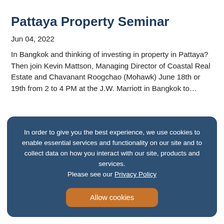Pattaya Property Seminar
Jun 04, 2022
In Bangkok and thinking of investing in property in Pattaya? Then join Kevin Mattson, Managing Director of Coastal Real Estate and Chavanant Roogchao (Mohawk) June 18th or 19th from 2 to 4 PM at the J.W. Marriott in Bangkok to…
In order to give you the best experience, we use cookies to enable essential services and functionality on our site and to collect data on how you interact with our site, products and services. Please see our Privacy Policy
Allow cookies